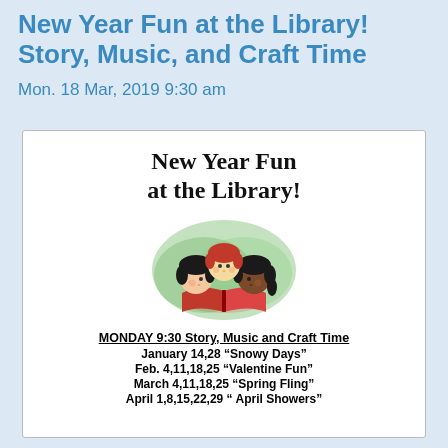New Year Fun at the Library! Story, Music, and Craft Time
Mon. 18 Mar, 2019 9:30 am
[Figure (illustration): Cartoon illustration of three children with different hair colors reading a large open red book together, with a green watercolor background.]
MONDAY 9:30 Story, Music and Craft Time
January 14,28 “Snowy Days”
Feb. 4,11,18,25 “Valentine Fun”
March 4,11,18,25 “Spring Fling”
April 1,8,15,22,29 “ April Showers”